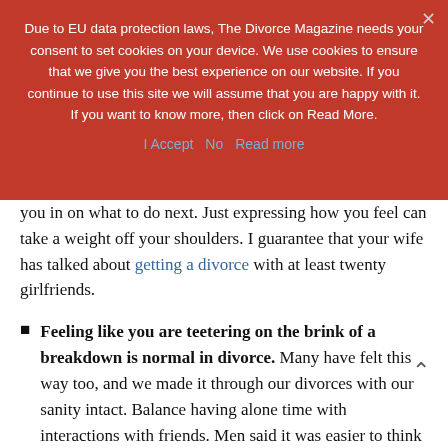Due to EU data protection laws, The Divorce Magazine needs your consent to set cookies on your device. We use cookies to ensure that we give you the best experience on our website. If you continue to use this site we will assume that you are happy with it. If you want to know more, then click on Read More.
I Accept   No   Read more
you in on what to do next. Just expressing how you feel can take a weight off your shoulders. I guarantee that your wife has talked about getting a divorce with at least twenty girlfriends.
Feeling like you are teetering on the brink of a breakdown is normal in divorce. Many have felt this way too, and we made it through our divorces with our sanity intact. Balance having alone time with interactions with friends. Men said it was easier to think about their situation and come up with solutions when they were in motion, such as